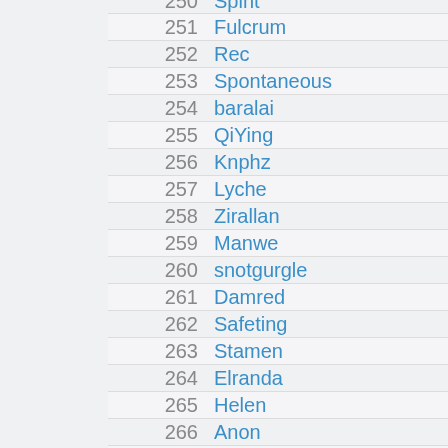251  Fulcrum
252  Rec
253  Spontaneous
254  baralai
255  QiYing
256  Knphz
257  Lyche
258  Zirallan
259  Manwe
260  snotgurgle
261  Damred
262  Safeting
263  Stamen
264  Elranda
265  Helen
266  Anon
267  Origin
268  Ebisu
269  ...